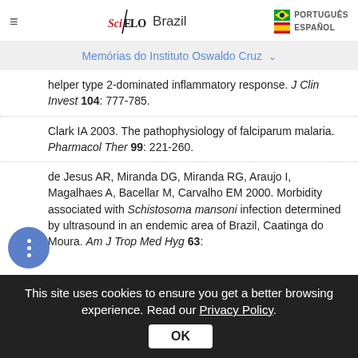SciELO Brazil | Memórias do Instituto Oswaldo Cruz
helper type 2-dominated inflammatory response. J Clin Invest 104: 777-785.
Clark IA 2003. The pathophysiology of falciparum malaria. Pharmacol Ther 99: 221-260.
de Jesus AR, Miranda DG, Miranda RG, Araujo I, Magalhaes A, Bacellar M, Carvalho EM 2000. Morbidity associated with Schistosoma mansoni infection determined by ultrasound in an endemic area of Brazil, Caatinga do Moura. Am J Trop Med Hyg 63:
This site uses cookies to ensure you get a better browsing experience. Read our Privacy Policy. OK